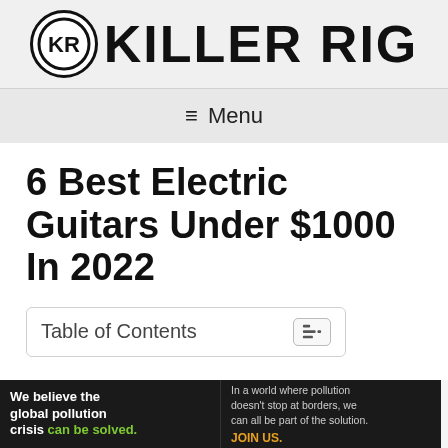[Figure (logo): Killer Rig logo: a circle with KR inside and bold text KILLER RIG]
≡ Menu
6 Best Electric Guitars Under $1000 In 2022
Table of Contents
[Figure (infographic): Advertisement banner: We believe the global pollution crisis can be solved. JOIN US. Pure Earth logo.]